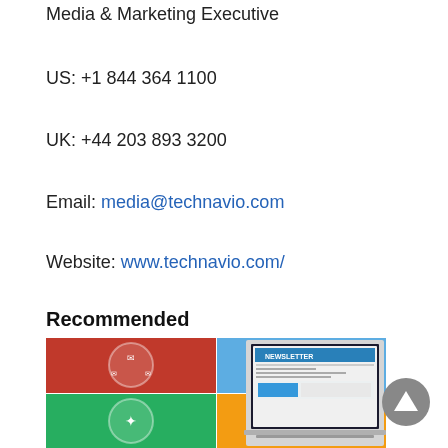Media & Marketing Executive
US: +1 844 364 1100
UK: +44 203 893 3200
Email: media@technavio.com
Website: www.technavio.com/
Recommended
[Figure (photo): Collage of newsletter and email marketing images including laptop showing a newsletter, email icons on colored circular backgrounds, and a hand holding a device.]